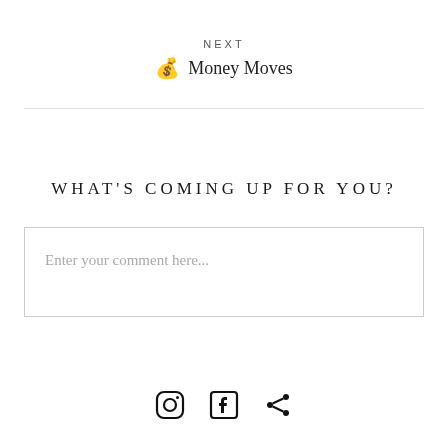NEXT
💰 Money Moves
WHAT'S COMING UP FOR YOU?
Enter your comment here...
[Figure (illustration): Social media icons: Instagram, Facebook, and Share]